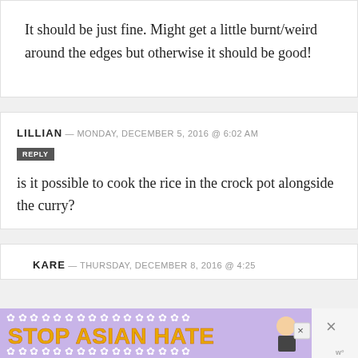It should be just fine. Might get a little burnt/weird around the edges but otherwise it should be good!
LILLIAN — MONDAY, DECEMBER 5, 2016 @ 6:02 AM
is it possible to cook the rice in the crock pot alongside the curry?
KARE — THURSDAY, DECEMBER 8, 2016 @ 4:25
[Figure (other): Stop Asian Hate advertisement banner with purple background, orange bold text, flower decorations, and animated character]